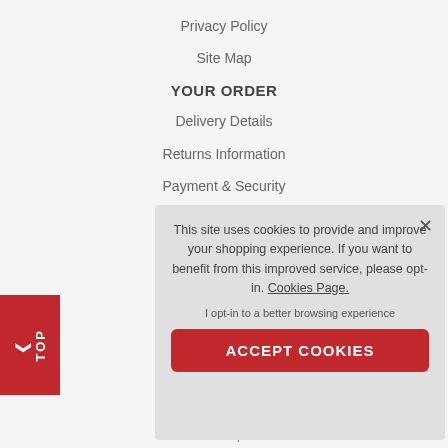Privacy Policy
Site Map
YOUR ORDER
Delivery Details
Returns Information
Payment & Security
This site uses cookies to provide and improve your shopping experience. If you want to benefit from this improved service, please opt-in. Cookies Page.

I opt-in to a better browsing experience

ACCEPT COOKIES
TOP
UK Maps